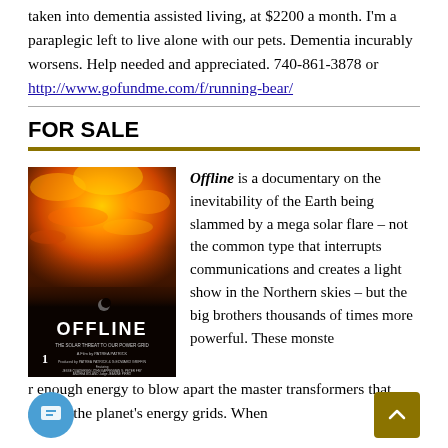taken into dementia assisted living, at $2200 a month. I'm a paraplegic left to live alone with our pets. Dementia incurably worsens. Help needed and appreciated. 740-861-3878 or http://www.gofundme.com/f/running-bear/
FOR SALE
[Figure (photo): Book/documentary cover for 'OFFLINE: The Solar Threat to Our Power Grid', showing a mega solar flare engulfing the Earth, with dark sky and a moon visible. Text at bottom includes film credits.]
Offline is a documentary on the inevitability of the Earth being slammed by a mega solar flare – not the common type that interrupts communications and creates a light show in the Northern skies – but the big brothers thousands of times more powerful. These monsters deliver enough energy to blow apart the master transformers that supply the planet's energy grids. When